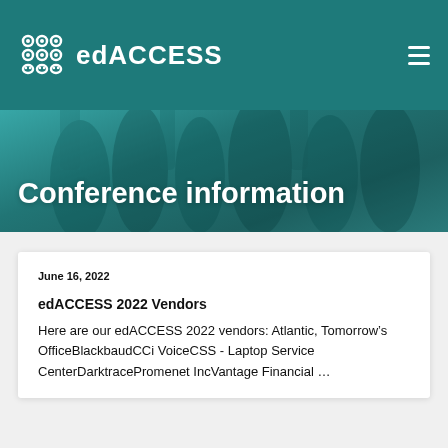edACCESS
Conference information
June 16, 2022
edACCESS 2022 Vendors
Here are our edACCESS 2022 vendors: Atlantic, Tomorrow’s OfficeBlackbaudCCi VoiceCSS - Laptop Service CenterDarktracePromenet IncVantage Financial …